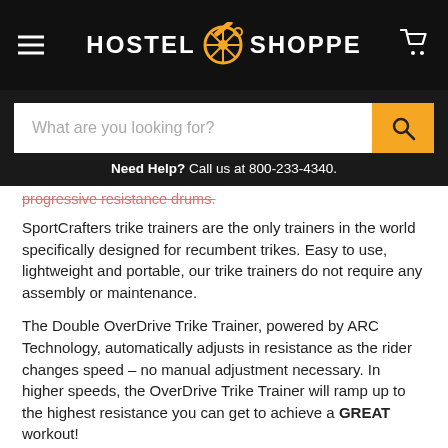HOSTEL SHOPPE
What are you looking for?
Need Help?  Call us at 800-233-4340.
progressive resistance drums.
SportCrafters trike trainers are the only trainers in the world specifically designed for recumbent trikes.  Easy to use, lightweight and portable, our trike trainers do not require any assembly or maintenance.
The Double OverDrive Trike Trainer, powered by ARC Technology, automatically adjusts in resistance as the rider changes speed – no manual adjustment necessary.  In higher speeds, the OverDrive Trike Trainer will ramp up to the highest resistance you can get to achieve a GREAT workout!